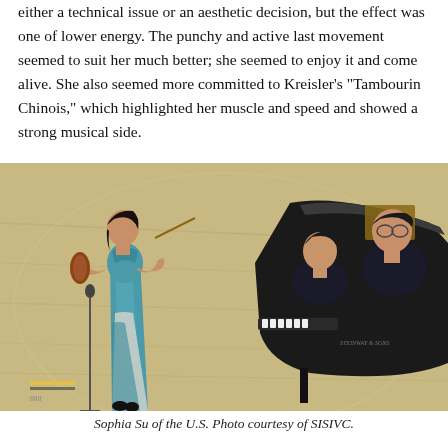either a technical issue or an aesthetic decision, but the effect was one of lower energy. The punchy and active last movement seemed to suit her much better; she seemed to enjoy it and come alive. She also seemed more committed to Kreisler's "Tambourin Chinois," which highlighted her muscle and speed and showed a strong musical side.
[Figure (photo): A violinist in a teal/blue gown performing on stage, with two pianists at a grand Steinway piano behind her. The stage floor is light wood. Photo taken from an elevated angle.]
Sophia Su of the U.S. Photo courtesy of SISIVC.